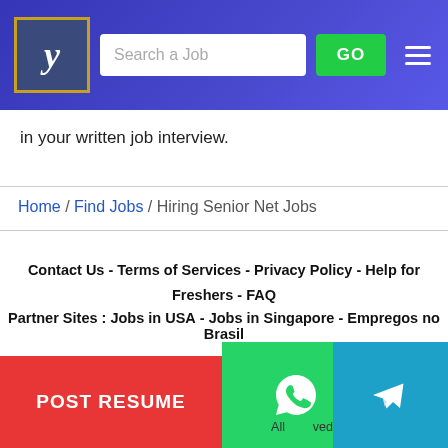Search a Job  GO
in your written job interview.
Home / Find Jobs / Hiring Senior Net Jobs
Contact Us - Terms of Services - Privacy Policy - Help for Freshers - FAQ
Partner Sites : Jobs in USA - Jobs in Singapore - Empregos no Brasil
Follow us on :
POST RESUME
All rights reserved